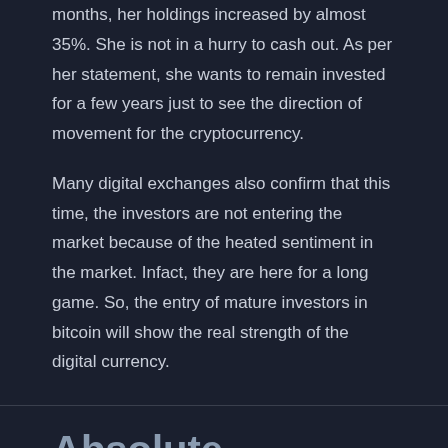months, her holdings increased by almost 35%. She is not in a hurry to cash out. As per her statement, she wants to remain invested for a few years just to see the direction of movement for the cryptocurrency.
Many digital exchanges also confirm that this time, the investors are not entering the market because of the heated sentiment in the market. Infact, they are here for a long game. So, the entry of mature investors in bitcoin will show the real strength of the digital currency.
Absolute Credibility Of The Immediate Edge Uae
Finance / By admin
Immediate edge is a convenient and helpful platform for all of your